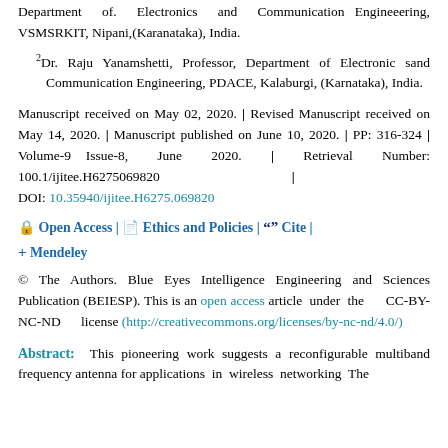Department of. Electronics and Communication Engineeering, VSMSRKIT, Nipani,(Karanataka), India.
2Dr. Raju Yanamshetti, Professor, Department of Electronic sand Communication Engineering, PDACE, Kalaburgi, (Karnataka), India.
Manuscript received on May 02, 2020. | Revised Manuscript received on May 14, 2020. | Manuscript published on June 10, 2020. | PP: 316-324 | Volume-9 Issue-8, June 2020. | Retrieval Number: 100.1/ijitee.H6275069820 | DOI: 10.35940/ijitee.H6275.069820
Open Access | Ethics and Policies | Cite | Mendeley
© The Authors. Blue Eyes Intelligence Engineering and Sciences Publication (BEIESP). This is an open access article under the CC-BY-NC-ND license (http://creativecommons.org/licenses/by-nc-nd/4.0/)
Abstract: This pioneering work suggests a reconfigurable multiband frequency antenna for applications in wireless networking The